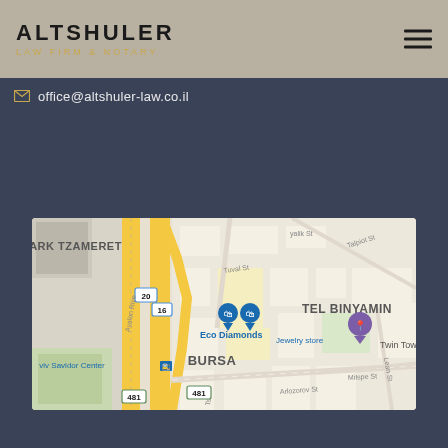ALTSHULER LAW FIRM & NOTARY
office@altshuler-law.co.il
[Figure (map): Google Maps view showing Tel Aviv area including Park Tzameret, TEL BINYAMIN, BURSA neighborhoods, Ayalon River, with location pins for Eco Diamonds jewelry store and Twin Towers, road numbers 20, 16, 481, and streets including Tuval St, Arlozorov St, Talpiot St, Mitspe St, Lean St]